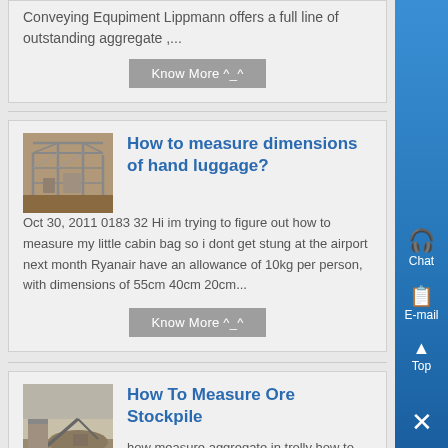Conveying Equpiment Lippmann offers a full line of outstanding aggregate ,...
Know More ^_^
How to measure dimensions of hand luggage?
[Figure (photo): Industrial equipment structure, steel frame building exterior]
Oct 30, 2011 0183 32 Hi im trying to figure out how to measure my little cabin bag so i dont get stung at the airport next month Ryanair have an allowance of 10kg per person, with dimensions of 55cm 40cm 20cm...
Know More ^_^
How To Measure Ore Stockpile
[Figure (photo): Outdoor scene with machinery or stockpile]
how measure aggregate in trolly how to